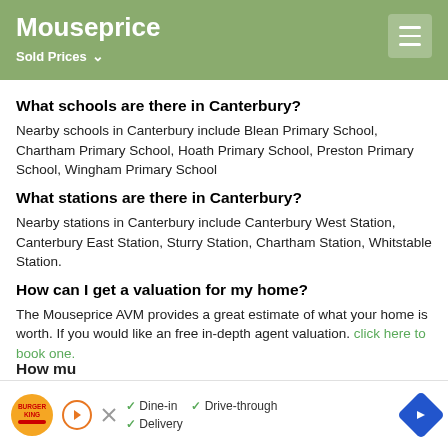Mouseprice — Sold Prices
What schools are there in Canterbury?
Nearby schools in Canterbury include Blean Primary School, Chartham Primary School, Hoath Primary School, Preston Primary School, Wingham Primary School
What stations are there in Canterbury?
Nearby stations in Canterbury include Canterbury West Station, Canterbury East Station, Sturry Station, Chartham Station, Whitstable Station.
How can I get a valuation for my home?
The Mouseprice AVM provides a great estimate of what your home is worth. If you would like an free in-depth agent valuation. click here to book one.
How mu...